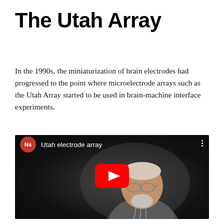The Utah Array
In the 1990s, the miniaturization of brain electrodes had progressed to the point where microelectrode arrays such as the Utah Array started to be used in brain-machine interface experiments.
[Figure (screenshot): YouTube video thumbnail showing a man being interviewed, with the title 'Utah electrode array' and a red YouTube play button overlay. The video is from a channel with a red 'Ns' logo.]